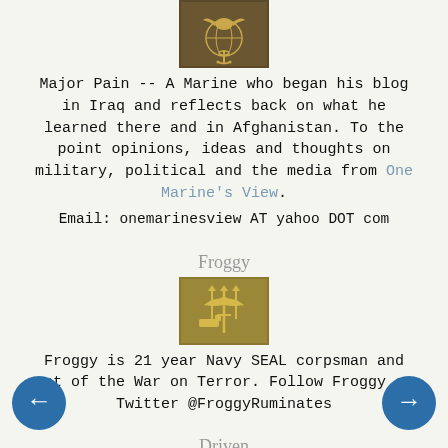[Figure (logo): Marine Corps Eagle Globe and Anchor emblem - gold/bronze insignia on dark background]
Major Pain -- A Marine who began his blog in Iraq and reflects back on what he learned there and in Afghanistan. To the point opinions, ideas and thoughts on military, political and the media from One Marine's View. Email: onemarinesview AT yahoo DOT com
Froggy
[Figure (logo): Navy SEAL Trident insignia - gold on gold/brown background]
Froggy is 21 year Navy SEAL corpsman and vet of the War on Terror. Follow Froggy on Twitter @FroggyRuminates
Driven
[Figure (logo): Airborne wings insignia - silver parachutist badge on gray background]
"Driven" is an OIF vet, Sergeant and team Leader in the 82nd Airborne Division...